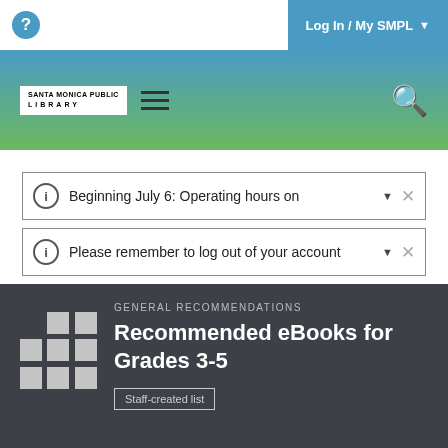Log In / My SMPL
[Figure (screenshot): Library website header with gradient background, logo, hamburger menu, and search icon]
Beginning July 6: Operating hours on
Please remember to log out of your account
GENERAL RECOMMENDATIONS
Recommended eBooks for Grades 3-5
Staff-created list
Great books for older elementary